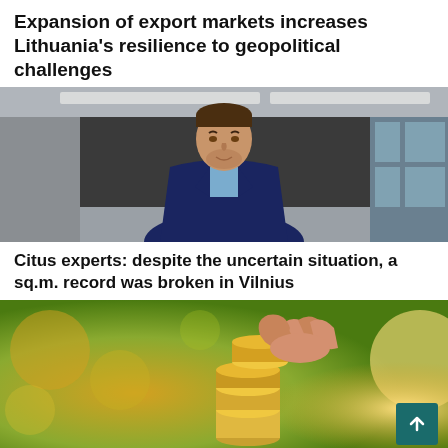Expansion of export markets increases Lithuania's resilience to geopolitical challenges
[Figure (photo): Portrait photo of a young man in a dark plaid blazer and light blue shirt, standing in a modern building interior with soft lighting]
Citus experts: despite the uncertain situation, a sq.m. record was broken in Vilnius
[Figure (photo): Close-up photo of a hand stacking gold coins against a blurred golden-green bokeh background]
Lithuania remains on a growth path in the face of global challenges and major uncertainties